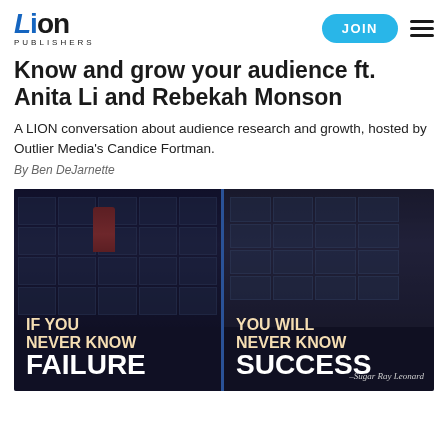Lion Publishers — JOIN
Know and grow your audience ft. Anita Li and Rebekah Monson
A LION conversation about audience research and growth, hosted by Outlier Media's Candice Fortman.
By Ben DeJarnette
[Figure (photo): Dark moody photo of a bus stop or glass panel with motivational quote split into two parts: left panel reads 'IF YOU NEVER KNOW FAILURE' and right panel reads 'YOU WILL NEVER KNOW SUCCESS — Sugar Ray Leonard']